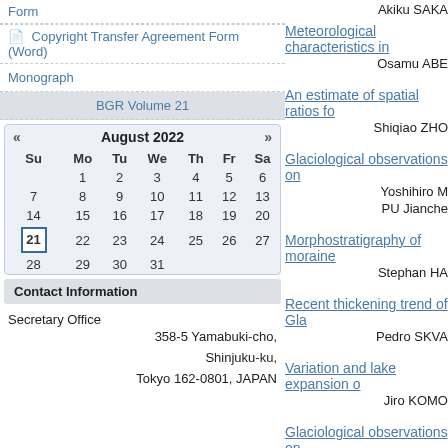Form
📄 Copyright Transfer Agreement Form (Word)
Monograph
BGR Volume 21
| Su | Mo | Tu | We | Th | Fr | Sa |
| --- | --- | --- | --- | --- | --- | --- |
|  | 1 | 2 | 3 | 4 | 5 | 6 |
| 7 | 8 | 9 | 10 | 11 | 12 | 13 |
| 14 | 15 | 16 | 17 | 18 | 19 | 20 |
| 21 | 22 | 23 | 24 | 25 | 26 | 27 |
| 28 | 29 | 30 | 31 |  |  |  |
Contact Information
Secretary Office
358-5 Yamabuki-cho,
Shinjuku-ku,
Tokyo 162-0801, JAPAN
Akiku SAKA
Meteorological characteristics in...
Osamu ABE
An estimate of spatial ratios fo...
Shiqiao ZHO
Glaciological observations on...
Yoshihiro M
PU Jianche
Morphostratigraphy of moraine...
Stephan HA
Recent thickening trend of Gla...
Pedro SKVA
Variation and lake expansion o...
Jiro KOMO
Glaciological observations on...
2003.
Koji FUJITA